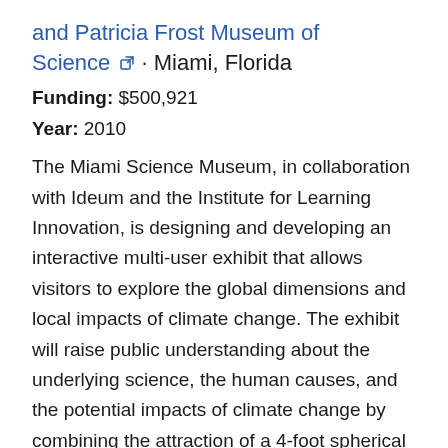and Patricia Frost Museum of Science · Miami, Florida
Funding: $500,921
Year: 2010
The Miami Science Museum, in collaboration with Ideum and the Institute for Learning Innovation, is designing and developing an interactive multi-user exhibit that allows visitors to explore the global dimensions and local impacts of climate change. The exhibit will raise public understanding about the underlying science, the human causes, and the potential impacts of climate change by combining the attraction of a 4-foot spherical